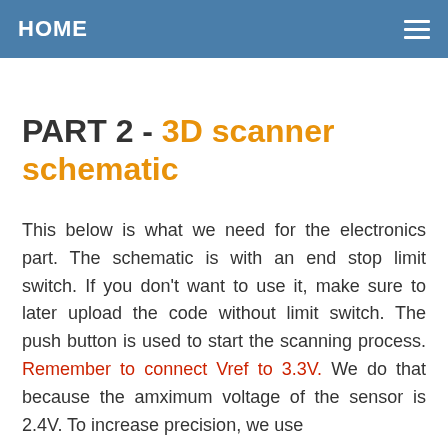HOME
PART 2 - 3D scanner schematic
This below is what we need for the electronics part. The schematic is with an end stop limit switch. If you don't want to use it, make sure to later upload the code without limit switch. The push button is used to start the scanning process. Remember to connect Vref to 3.3V. We do that because the amximum voltage of the sensor is 2.4V. To increase precision, we use